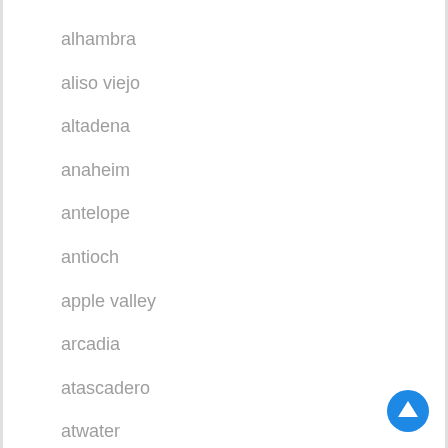alhambra
aliso viejo
altadena
anaheim
antelope
antioch
apple valley
arcadia
atascadero
atwater
auburn
azusa
bakersfield